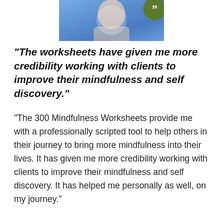[Figure (photo): Partial photo of a woman in a blue floral garment, cropped at the top of the page, with a dark olive green circular quote badge in the upper right corner showing double quotation marks.]
“The worksheets have given me more credibility working with clients to improve their mindfulness and self discovery.”
“The 300 Mindfulness Worksheets provide me with a professionally scripted tool to help others in their journey to bring more mindfulness into their lives. It has given me more credibility working with clients to improve their mindfulness and self discovery. It has helped me personally as well, on my journey.”